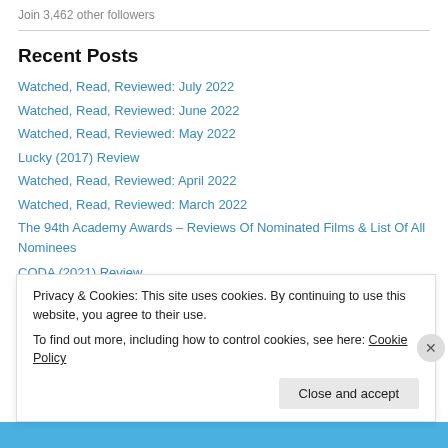Join 3,462 other followers
Recent Posts
Watched, Read, Reviewed: July 2022
Watched, Read, Reviewed: June 2022
Watched, Read, Reviewed: May 2022
Lucky (2017) Review
Watched, Read, Reviewed: April 2022
Watched, Read, Reviewed: March 2022
The 94th Academy Awards – Reviews Of Nominated Films & List Of All Nominees
CODA (2021) Review
Privacy & Cookies: This site uses cookies. By continuing to use this website, you agree to their use. To find out more, including how to control cookies, see here: Cookie Policy